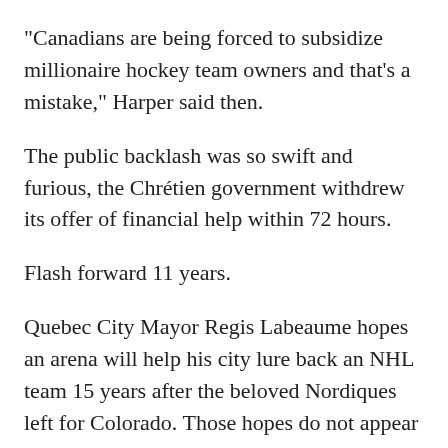"Canadians are being forced to subsidize millionaire hockey team owners and that's a mistake," Harper said then.
The public backlash was so swift and furious, the Chrétien government withdrew its offer of financial help within 72 hours.
Flash forward 11 years.
Quebec City Mayor Regis Labeaume hopes an arena will help his city lure back an NHL team 15 years after the beloved Nordiques left for Colorado. Those hopes do not appear to have been dashed by NHL commissioner Gary Bettman's insistence that the league has no plans to expand or move a team to the